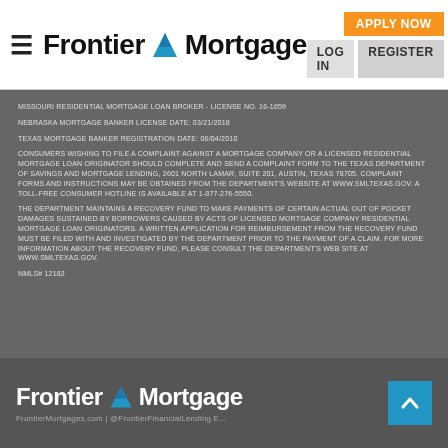Frontier Mortgage — APPLY NOW | LOG IN | REGISTER
MISSOURI RESIDENTIAL MORTGAGE LOAN BROKER - LICENSE NO. 16-1659
NEBRASKA MORTGAGE BANKER LICENSE DATE: 03/21/2018
TEXAS MORTGAGE BANKER REGISTRATION DATE: 06/04/2010
CONSUMERS WISHING TO FILE A COMPLAINT AGAINST A MORTGAGE COMPANY OR A LICENSED RESIDENTIAL MORTGAGE LOAN ORIGINATOR SHOULD COMPLETE AND SEND A COMPLAINT FORM TO THE TEXAS DEPARTMENT OF SAVINGS AND MORTGAGE LENDING, 2601 NORTH LAMAR, SUITE 201, AUSTIN, TEXAS 78705. COMPLAINT FORMS AND INSTRUCTIONS MAY BE OBTAINED FROM THE DEPARTMENT'S WEBSITE AT WWW.SMLTEXAS.GOV. A TOLL-FREE CONSUMER HOTLINE IS AVAILABLE AT 1-877-276-5550.
THE DEPARTMENT MAINTAINS A RECOVERY FUND TO MAKE PAYMENTS OF CERTAIN ACTUAL OUT OF POCKET DAMAGES SUSTAINED BY BORROWERS CAUSED BY ACTS OF LICENSED MORTGAGE COMPANY RESIDENTIAL MORTGAGE LOAN ORIGINATORS. A WRITTEN APPLICATION FOR REIMBURSEMENT FROM THE RECOVERY FUND MUST BE FILED WITH AND INVESTIGATED BY THE DEPARTMENT PRIOR TO THE PAYMENT OF A CLAIM. FOR MORE INFORMATION ABOUT THE RECOVERY FUND, PLEASE CONSULT THE DEPARTMENT'S WEB SITE AT WWW.SMLTEXAS.GOV.
NMLS# 12182
Frontier Mortgage — FrontierMortgages.com | @FrontierFinancialLending E...